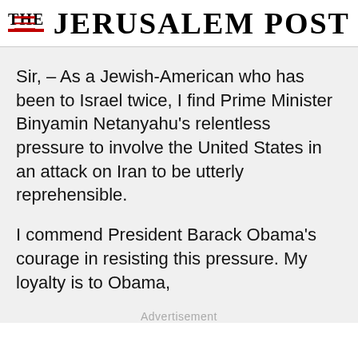THE JERUSALEM POST
Sir, – As a Jewish-American who has been to Israel twice, I find Prime Minister Binyamin Netanyahu's relentless pressure to involve the United States in an attack on Iran to be utterly reprehensible.
I commend President Barack Obama's courage in resisting this pressure. My loyalty is to Obama,
Advertisement